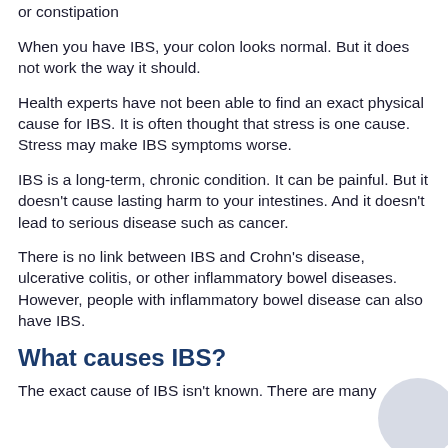or constipation
When you have IBS, your colon looks normal. But it does not work the way it should.
Health experts have not been able to find an exact physical cause for IBS. It is often thought that stress is one cause. Stress may make IBS symptoms worse.
IBS is a long-term, chronic condition. It can be painful. But it doesn’t cause lasting harm to your intestines. And it doesn’t lead to serious disease such as cancer.
There is no link between IBS and Crohn's disease, ulcerative colitis, or other inflammatory bowel diseases. However, people with inflammatory bowel disease can also have IBS.
What causes IBS?
The exact cause of IBS isn’t known. There are many